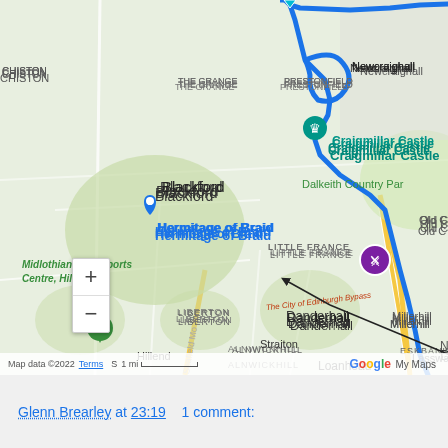[Figure (map): Google Maps screenshot showing a cycling route (blue line) around Edinburgh area, Scotland. Key landmarks include Craigmillar Castle, Hermitage of Braid, Blackford, Little France, Liberton, Danderhall, Millerhill, Alnwickhill, Dalkeith Country Park, Midlothian Snowsports Centre Hillend, Hillend, Straiton, Lasswade, Loanhead, Eskbank, Newtonrange (Newb). A purple restaurant/food marker is visible near the A7. A green location pin is at Hillend. Map data ©2022, scale 1 mi shown. Arrow annotation pointing to route on bypass road.]
Glenn Brearley at 23:19    1 comment: